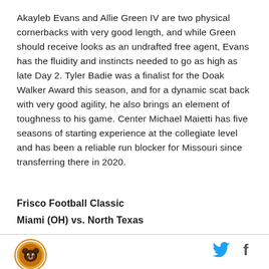Akayleb Evans and Allie Green IV are two physical cornerbacks with very good length, and while Green should receive looks as an undrafted free agent, Evans has the fluidity and instincts needed to go as high as late Day 2. Tyler Badie was a finalist for the Doak Walker Award this season, and for a dynamic scat back with very good agility, he also brings an element of toughness to his game. Center Michael Maietti has five seasons of starting experience at the collegiate level and has been a reliable run blocker for Missouri since transferring there in 2020.
Frisco Football Classic
Miami (OH) vs. North Texas
[Figure (logo): Circular sports team logo with bear mascot, orange and brown colors]
[Figure (logo): Twitter bird icon in blue and Facebook f icon in dark blue, social media share buttons]